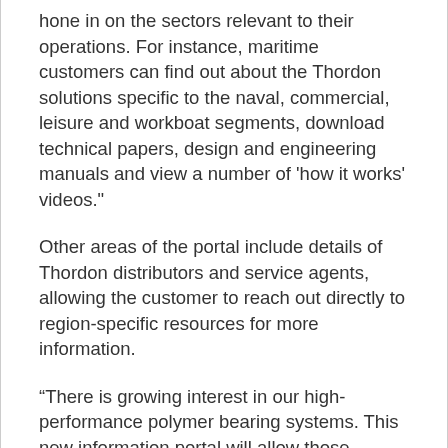hone in on the sectors relevant to their operations. For instance, maritime customers can find out about the Thordon solutions specific to the naval, commercial, leisure and workboat segments, download technical papers, design and engineering manuals and view a number of 'how it works' videos.
Other areas of the portal include details of Thordon distributors and service agents, allowing the customer to reach out directly to region-specific resources for more information.
“There is growing interest in our high-performance polymer bearing systems. This new information portal will allow those considering the move away from traditional bearing materials to better understand the cost-savings such systems can afford,” said Carter.